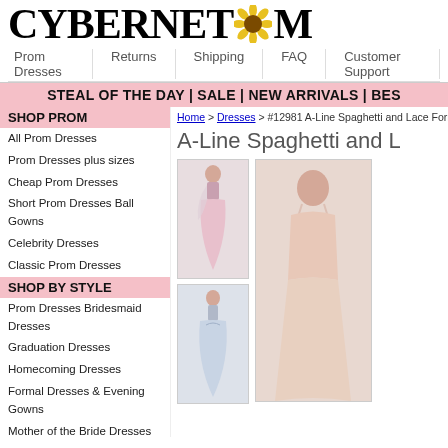CYBERNETPLAZA.COM
Prom Dresses | Returns | Shipping | FAQ | Customer Support
STEAL OF THE DAY | SALE | NEW ARRIVALS | BEST SELLERS
SHOP PROM
All Prom Dresses
Prom Dresses plus sizes
Cheap Prom Dresses
Short Prom Dresses Ball Gowns
Celebrity Dresses
Classic Prom Dresses
SHOP BY STYLE
Prom Dresses Bridesmaid Dresses
Graduation Dresses
Homecoming Dresses
Formal Dresses & Evening Gowns
Mother of the Bride Dresses
Wedding Dresses
Sequined Formal Dresses
Sequin Exclusives Cocktail Dresses
Party Dresses Quinceanera Dresses
Pageant Dresses 2 Piece Dresses
Little Black Dresses
SHOP EXTRAS
Home > Dresses > #12981 A-Line Spaghetti and Lace Formal Prom Dresses
A-Line Spaghetti and L
[Figure (photo): Two thumbnail photos of prom dresses: a pink A-line gown and a blue/silver A-line gown]
[Figure (photo): Large cropped photo of a model wearing a spaghetti strap prom dress]